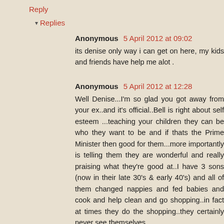Reply
Replies
Anonymous 5 April 2012 at 09:02
its denise only way i can get on here, my kids and friends have help me alot .
Anonymous 5 April 2012 at 12:28
Well Denise...I'm so glad you got away from your ex..and it's official..Bell is right about self esteem ...teaching your children they can be who they want to be and if thats the Prime Minister then good for them...more importantly is telling them they are wonderful and really praising what they're good at..I have 3 sons (now in their late 30's & early 40's) and all of them changed nappies and fed babies and cook and help clean and go shopping..in fact at times they do the shopping..they certainly never see themselves